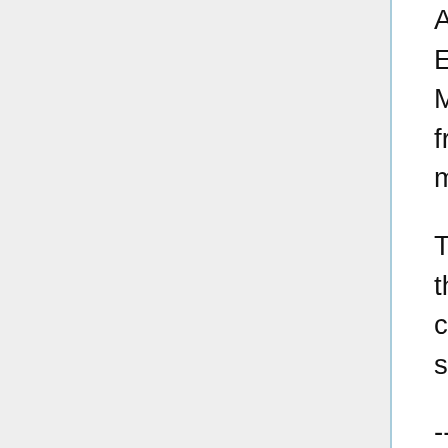All the prizes are bombs. Spherical black ones. Every time a rope is pulled, it lights their fuse. Mikoto can't extinguish ALL of them before her friends pull them out, but she can probably whack-a-mole several into duds if she really applies herself.
The mouth is nowhere to be found on this side of the booth, either. Her way out is the rope tied comfortably around her waist. Sooner or later, surely she will be a prize to be won!
---
Meanwhile, the cork gun nakewameke turns out to be pretty nimble on those cork-stack legs. It leaps out of the way of Lera's spikes, and into Fuu's sword, which it takes on an X of its gun-arms. Sparks fly, and then corks fly too, as it